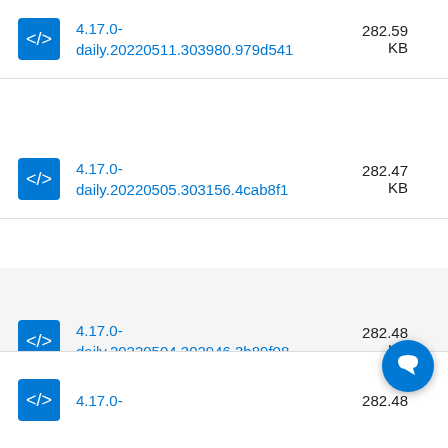4.17.0-daily.20220511.303980.979d541 282.59 KB
4.17.0-daily.20220505.303156.4cab8f1 282.47 KB
4.17.0-daily.20220504.302946.3b89f08 282.48 KB
4.17.0- 282.48